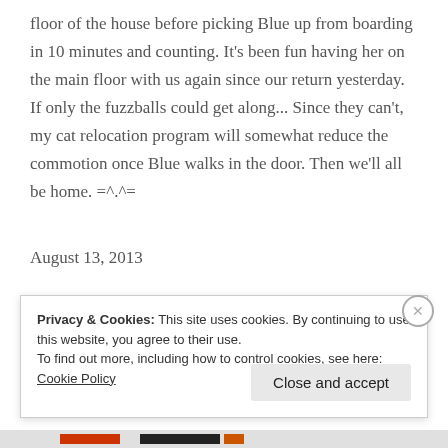floor of the house before picking Blue up from boarding in 10 minutes and counting. It's been fun having her on the main floor with us again since our return yesterday. If only the fuzzballs could get along... Since they can't, my cat relocation program will somewhat reduce the commotion once Blue walks in the door. Then we'll all be home. =^.^=
August 13, 2013
Privacy & Cookies: This site uses cookies. By continuing to use this website, you agree to their use.
To find out more, including how to control cookies, see here: Cookie Policy